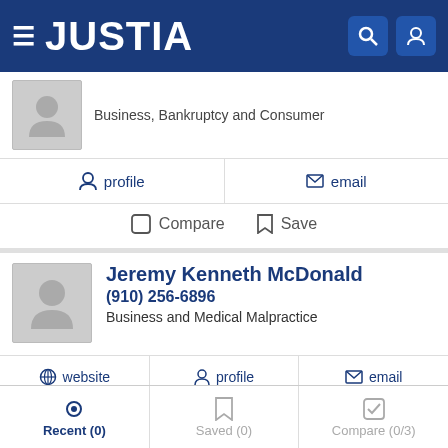JUSTIA
Business, Bankruptcy and Consumer
profile   email
Compare   Save
Jeremy Kenneth McDonald
(910) 256-6896
Business and Medical Malpractice
website   profile   email
Compare   Save
Dana Bellizzari
Recent (0)   Saved (0)   Compare (0/3)